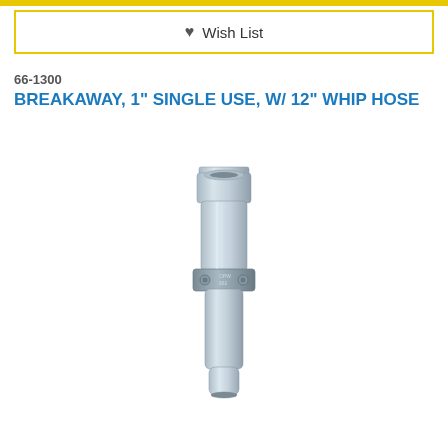Wish List
66-1300
BREAKAWAY, 1" SINGLE USE, W/ 12" WHIP HOSE
[Figure (photo): Silver/aluminum cylindrical breakaway valve fitting with threaded top end and a clamp band in the middle section]